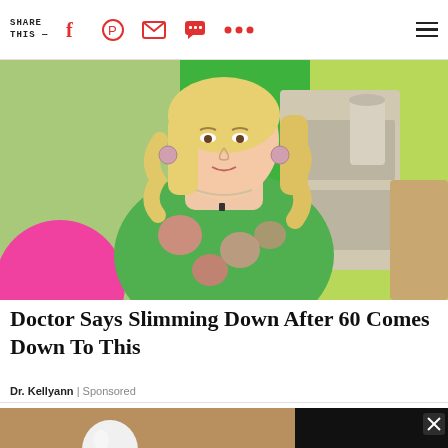SHARE THIS —
[Figure (photo): Woman with blonde hair wearing a green floral dress seated in a TV studio setting with colorful background]
Doctor Says Slimming Down After 60 Comes Down To This
Dr. Kellyann | Sponsored
[Figure (photo): Hand holding a white light bulb]
[Figure (photo): Black and white circular arc design, close-up with X close button]